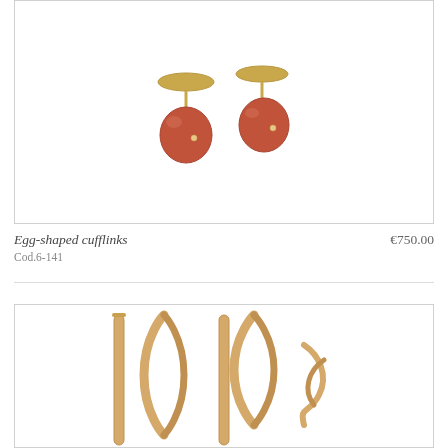[Figure (photo): Two egg-shaped carnelian and gold cufflinks with oval gold tops and round reddish-orange stone drops with small diamond or gold dot accents]
Egg-shaped cufflinks
Cod.6-141
€750.00
[Figure (photo): Close-up of gold wire and loop cufflinks, showing elongated gold bar and teardrop loop components]